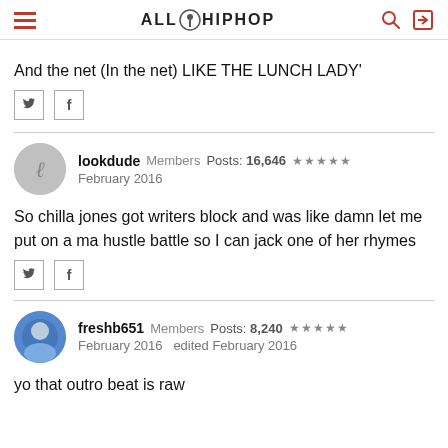ALL HIPHOP
And the net (In the net) LIKE THE LUNCH LADY'
lookdude  Members  Posts: 16,646  ★★★★★  February 2016
So chilla jones got writers block and was like damn let me put on a ma hustle battle so I can jack one of her rhymes
freshb651  Members  Posts: 8,240  ★★★★★  February 2016  edited February 2016
yo that outro beat is raw